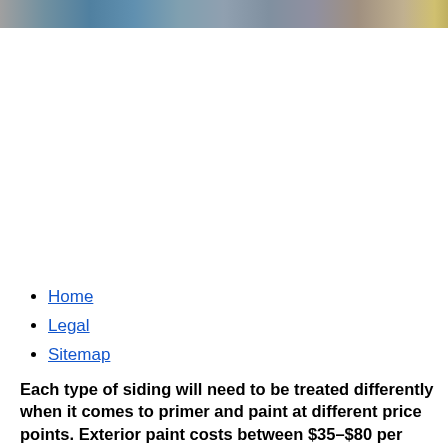[Figure (photo): Partial photograph of a building exterior with blue and gray tones, partially cropped at the top of the page]
Home
Legal
Sitemap
Each type of siding will need to be treated differently when it comes to primer and paint at different price points. Exterior paint costs between $35–$80 per gallon depending on the quality you choose. It's not always